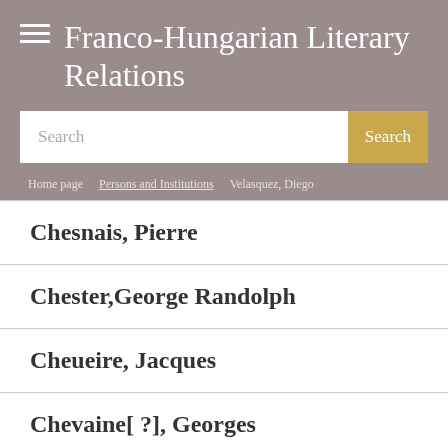Franco-Hungarian Literary Relations
Search
Home page > Persons and Institutions > Velasquez, Diego
Chesnais, Pierre
Chester,George Randolph
Cheueire, Jacques
Chevaine[ ?], Georges